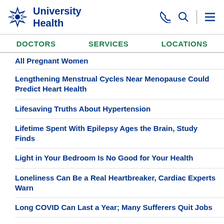University Health
DOCTORS
SERVICES
LOCATIONS
All Pregnant Women
Lengthening Menstrual Cycles Near Menopause Could Predict Heart Health
Lifesaving Truths About Hypertension
Lifetime Spent With Epilepsy Ages the Brain, Study Finds
Light in Your Bedroom Is No Good for Your Health
Loneliness Can Be a Real Heartbreaker, Cardiac Experts Warn
Long COVID Can Last a Year; Many Sufferers Quit Jobs
Losing a Sibling a Common Tragedy in Poorer Nations, Study Finds
Losing Weight Can Prevent Diabetes and Also Help the...